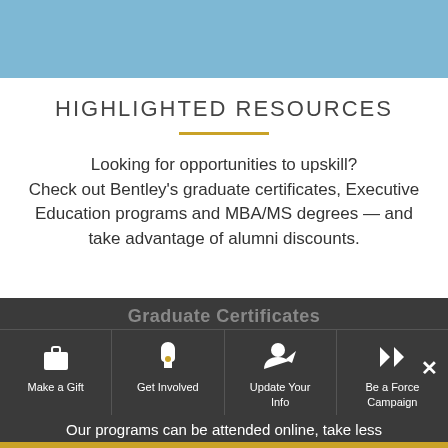[Figure (other): Light blue banner at top of page]
HIGHLIGHTED RESOURCES
Looking for opportunities to upskill? Check out Bentley's graduate certificates, Executive Education programs and MBA/MS degrees — and take advantage of alumni discounts.
[Figure (screenshot): Dark navigation bar with Graduate Certificates overlay text and four icon navigation cells: Make a Gift, Get Involved, Update Your Info, Be a Force Campaign, with bottom text 'Our programs can be attended online, take less']